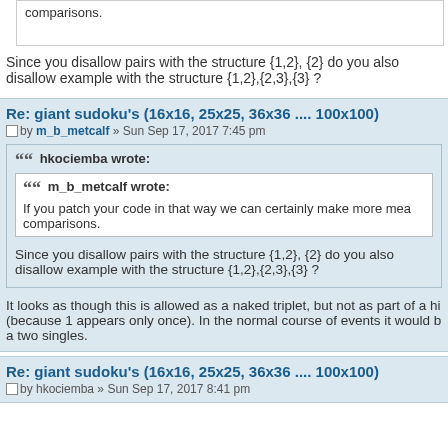comparisons.
Since you disallow pairs with the structure {1,2}, {2} do you also disallow example with the structure {1,2},{2,3},{3} ?
Re: giant sudoku's (16x16, 25x25, 36x36 .... 100x100)
by m_b_metcalf » Sun Sep 17, 2017 7:45 pm
hkociemba wrote:
m_b_metcalf wrote: If you patch your code in that way we can certainly make more mea comparisons.
Since you disallow pairs with the structure {1,2}, {2} do you also disallow example with the structure {1,2},{2,3},{3} ?
It looks as though this is allowed as a naked triplet, but not as part of a hi (because 1 appears only once). In the normal course of events it would b a two singles.
Re: giant sudoku's (16x16, 25x25, 36x36 .... 100x100)